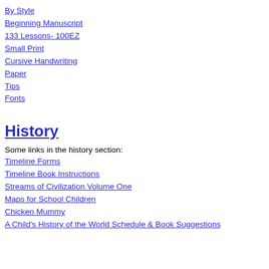By Style
Beginning Manuscript
133 Lessons- 100EZ
Small Print
Cursive Handwriting
Paper
Tips
Fonts
History
Some links in the history section:
Timeline Forms
Timeline Book Instructions
Streams of Civilization Volume One
Maps for School Children
Chicken Mummy
A Child's History of the World Schedule & Book Suggestions